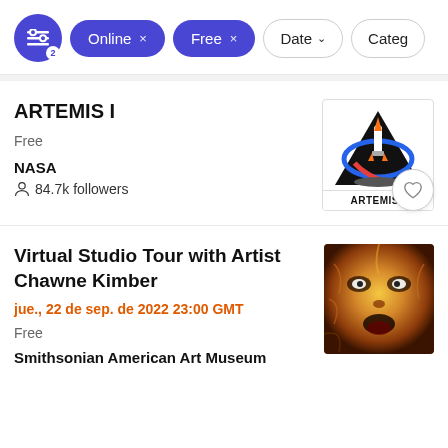[Figure (screenshot): Filter bar with icon button (2 active filters), 'Online ×' chip, 'Free ×' chip, 'Date ∨' outline button, 'Categ…' outline button]
ARTEMIS I
Free
NASA
84.7k followers
[Figure (logo): ARTEMIS I mission logo: rocket on black triangle with blue and red circular orbits, text ARTEMIS I below]
Virtual Studio Tour with Artist Chawne Kimber
jue., 22 de sep. de 2022 23:00 GMT
Free
Smithsonian American Art Museum
[Figure (photo): Close-up artistic photo of a dog or cat face in warm orange and yellow tones, intense eyes, stylized texture]